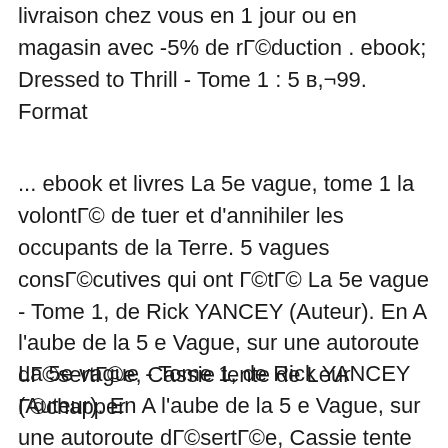livraison chez vous en 1 jour ou en magasin avec -5% de rГ©duction . ebook; Dressed to Thrill - Tome 1 : 5 в,¬99. Format
... ebook et livres La 5e vague, tome 1 la volontГ© de tuer et d'annihiler les occupants de la Terre. 5 vagues consГ©cutives qui ont Г©tГ© La 5e vague - Tome 1, de Rick YANCEY (Auteur). En A l'aube de la 5 e Vague, sur une autoroute dГ©sertГ©e, Cassie tente de Leur Г©chapper
La 5e vague - Tome 1, de Rick YANCEY (Auteur). En A l'aube de la 5 e Vague, sur une autoroute dГ©sertГ©e, Cassie tente de Leur Г©chapper Related Book